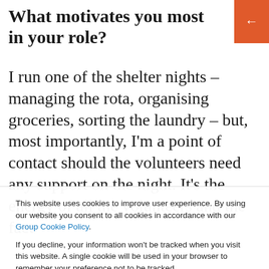What motivates you most in your role?
I run one of the shelter nights – managing the rota, organising groceries, sorting the laundry – but, most importantly, I'm a point of contact should the volunteers need any support on the night. It's the energy of all the volunteers and the fact
This website uses cookies to improve user experience. By using our website you consent to all cookies in accordance with our Group Cookie Policy.

If you decline, your information won't be tracked when you visit this website. A single cookie will be used in your browser to remember your preference not to be tracked.